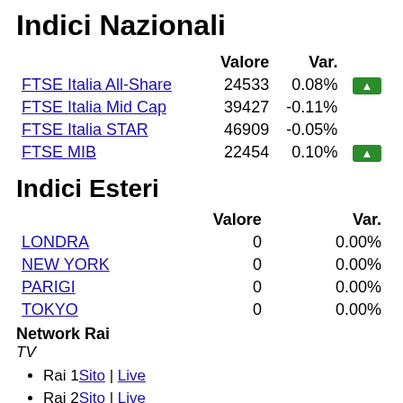Indici Nazionali
|  | Valore | Var. |
| --- | --- | --- |
| FTSE Italia All-Share | 24533 | 0.08% |
| FTSE Italia Mid Cap | 39427 | -0.11% |
| FTSE Italia STAR | 46909 | -0.05% |
| FTSE MIB | 22454 | 0.10% |
Indici Esteri
|  | Valore | Var. |
| --- | --- | --- |
| LONDRA | 0 | 0.00% |
| NEW YORK | 0 | 0.00% |
| PARIGI | 0 | 0.00% |
| TOKYO | 0 | 0.00% |
Network Rai
TV
Rai 1 Sito | Live
Rai 2 Sito | Live
Rai 3 Sito | Live